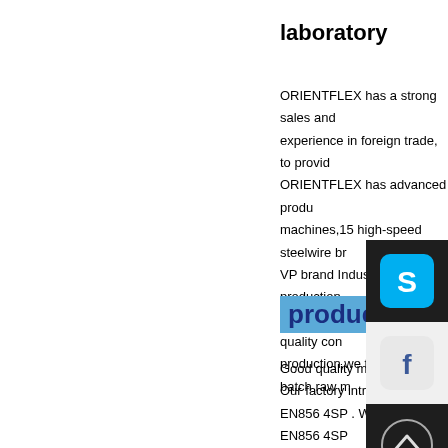laboratory
ORIENTFLEX has a strong sales and experience in foreign trade, to provide ORIENTFLEX has advanced product machines,15 high-speed steelwire br VP brand Industrial hose production ORIENTFLEX has strong quality con production,we test each batch raw m
product pro
Good quality material k Our factory introduce adva EN856 4SP . We have muc EN856 4SP